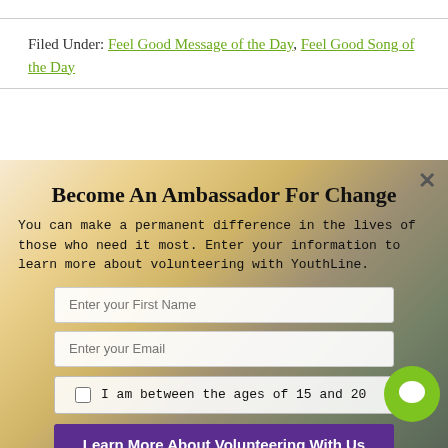Filed Under: Feel Good Message of the Day, Feel Good Song of the Day
Become An Ambassador For Change
You can make a permanent difference in the lives of those who need it most. Enter your information to learn more about volunteering with YouthLine.
Enter your First Name
Enter your Email
I am between the ages of 15 and 20
Learn More About Volunteering With Us
No Thank You